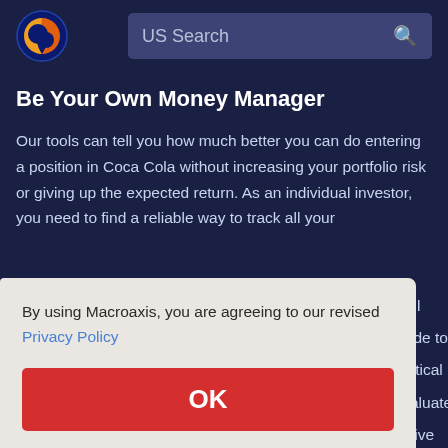US Search
Be Your Own Money Manager
Our tools can tell you how much better you can do entering a position in Coca Cola without increasing your portfolio risk or giving up the expected return. As an individual investor, you need to find a reliable way to track all your
By using Macroaxis, you are agreeing to our revised Privacy Policy
OK
Did You Try This?